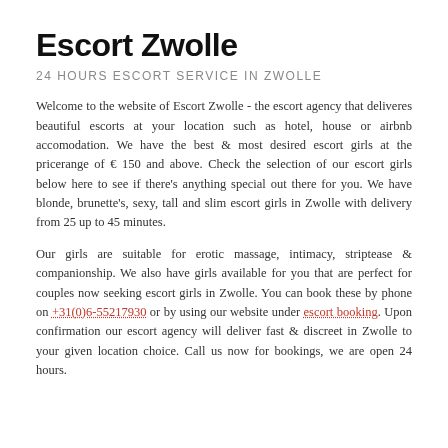Escort Zwolle
24 HOURS ESCORT SERVICE IN ZWOLLE
Welcome to the website of Escort Zwolle - the escort agency that deliveres beautiful escorts at your location such as hotel, house or airbnb accomodation. We have the best & most desired escort girls at the pricerange of € 150 and above. Check the selection of our escort girls below here to see if there's anything special out there for you. We have blonde, brunette's, sexy, tall and slim escort girls in Zwolle with delivery from 25 up to 45 minutes.
Our girls are suitable for erotic massage, intimacy, striptease & companionship. We also have girls available for you that are perfect for couples now seeking escort girls in Zwolle. You can book these by phone on +31(0)6-55217930 or by using our website under escort booking. Upon confirmation our escort agency will deliver fast & discreet in Zwolle to your given location choice. Call us now for bookings, we are open 24 hours.